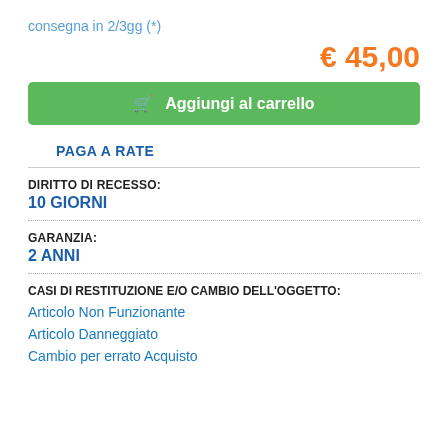consegna in 2/3gg (*)
€ 45,00
Aggiungi al carrello
PAGA A RATE
DIRITTO DI RECESSO:
10 GIORNI
GARANZIA:
2 ANNI
CASI DI RESTITUZIONE E/O CAMBIO DELL'OGGETTO:
Articolo Non Funzionante
Articolo Danneggiato
Cambio per errato Acquisto